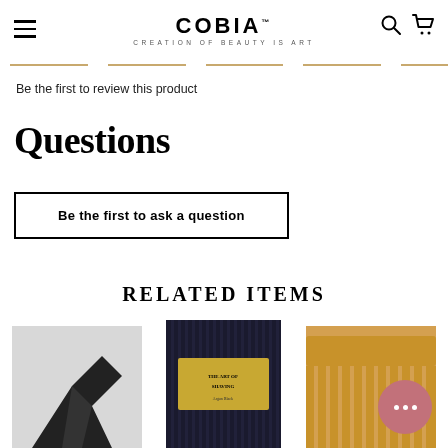COBIA — CREATION OF BEAUTY IS ART
Be the first to review this product
Questions
Be the first to ask a question
RELATED ITEMS
[Figure (photo): Three product photos: a black hair dryer or styling tool, a dark boxed grooming product (The Art of Shaving), and a wooden comb. A pink chat bubble with three dots appears in the lower right corner.]